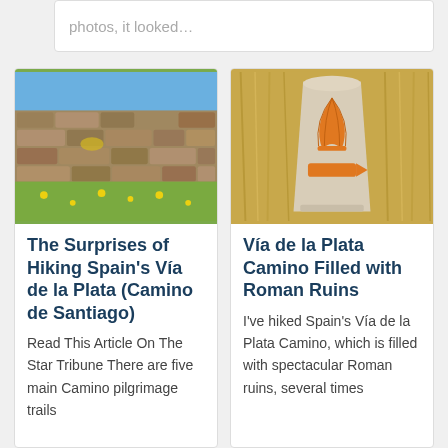photos, it looked…
[Figure (photo): Stone wall with yellow lichen and wildflowers in the background, blue sky above]
The Surprises of Hiking Spain's Vía de la Plata (Camino de Santiago)
Read This Article On The Star Tribune There are five main Camino pilgrimage trails
[Figure (photo): Stone waymarker/milestone with orange scallop shell symbol and arrow, surrounded by dry grass]
Vía de la Plata Camino Filled with Roman Ruins
I've hiked Spain's Vía de la Plata Camino, which is filled with spectacular Roman ruins, several times